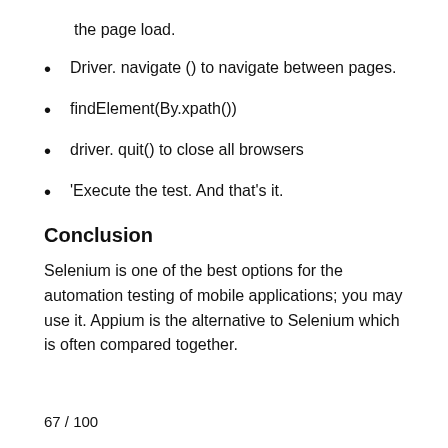the page load.
Driver. navigate () to navigate between pages.
findElement(By.xpath())
driver. quit() to close all browsers
'Execute the test. And that's it.
Conclusion
Selenium is one of the best options for the automation testing of mobile applications; you may use it. Appium is the alternative to Selenium which is often compared together.
67 / 100